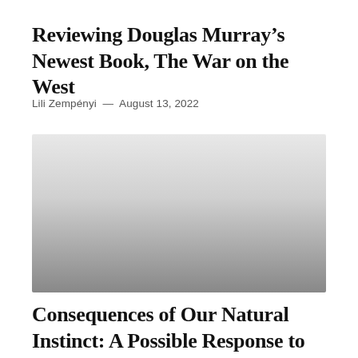Reviewing Douglas Murray’s Newest Book, The War on the West
Lili Zempényi — August 13, 2022
[Figure (photo): A grayscale gradient image fading from light gray at top to dark gray at bottom, representing a blurred or obscured photograph.]
Consequences of Our Natural Instinct: A Possible Response to Today’s Challenges